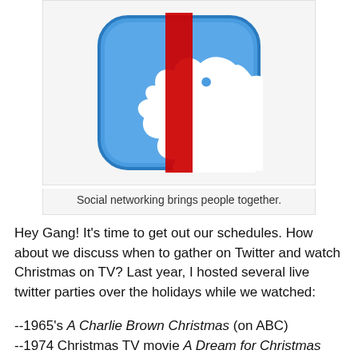[Figure (illustration): Twitter bird logo icon with a red vertical stripe overlaid on it, set against a blue rounded square background, suggesting social networking. Below the image is a caption.]
Social networking brings people together.
Hey Gang!  It's time to get out our schedules.  How about we discuss when to gather on Twitter and watch Christmas on TV?  Last year, I hosted several live twitter parties over the holidays while we watched:
--1965's A Charlie Brown Christmas (on ABC)
--1974 Christmas TV movie A Dream for Christmas (on MeTV)
--the 2013 Christmas episode of The Michael J. Fox Show (on NBC--series now cancelled)
--1963 Christmas episode of The Dick Van Dyke Show (on MeTV)